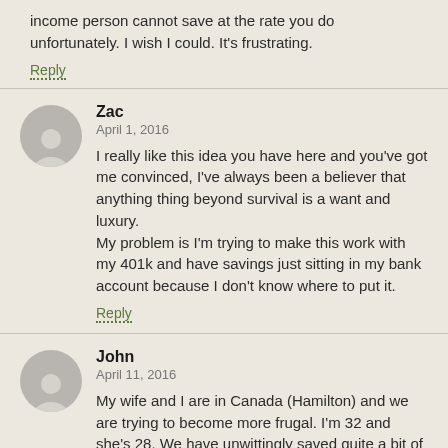income person cannot save at the rate you do unfortunately. I wish I could. It's frustrating.
Reply
Zac
April 1, 2016
I really like this idea you have here and you've got me convinced, I've always been a believer that anything thing beyond survival is a want and luxury.
My problem is I'm trying to make this work with my 401k and have savings just sitting in my bank account because I don't know where to put it.
Reply
John
April 11, 2016
My wife and I are in Canada (Hamilton) and we are trying to become more frugal. I'm 32 and she's 28. We have unwittingly saved quite a bit of money by living abroad for a long time and always thinking "we don't have to buy that big purchase because we won't be here that long anyway" and then ended up being there for 4 years.